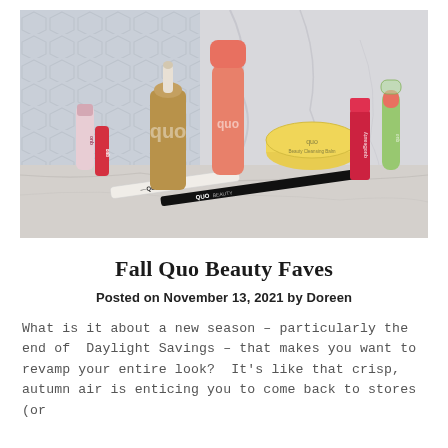[Figure (photo): A flat-lay photo of multiple Quo Beauty cosmetic products arranged on a marble surface with hexagonal tile background. Products include lip gloss, foundation dropper bottle, spray bottle with coral cap, yellow jar, red lipstick, green lip balm stick, eyeliner pencil, and concealer tube — all branded with 'Quo' or 'Quo Beauty'.]
Fall Quo Beauty Faves
Posted on November 13, 2021 by Doreen
What is it about a new season – particularly the end of Daylight Savings – that makes you want to revamp your entire look?  It's like that crisp, autumn air is enticing you to come back to stores (or